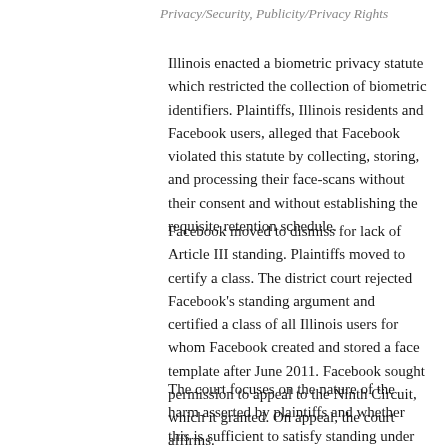Privacy/Security, Publicity/Privacy Rights
Illinois enacted a biometric privacy statute which restricted the collection of biometric identifiers. Plaintiffs, Illinois residents and Facebook users, alleged that Facebook violated this statute by collecting, storing, and processing their face-scans without their consent and without establishing the requisite retention schedule.
Facebook moved to dismiss for lack of Article III standing. Plaintiffs moved to certify a class. The district court rejected Facebook’s standing argument and certified a class of all Illinois users for whom Facebook created and stored a face template after June 2011. Facebook sought permission to appeal to the Ninth Circuit, which it granted. On appeal, the court affirms.
The court focuses on the nature of the harm asserted by plaintiffs and whether this is sufficient to satisfy standing under the Supreme Court’s ruling in Spokeo (and on the Ninth Circuit’s ruling on remand). The court reads